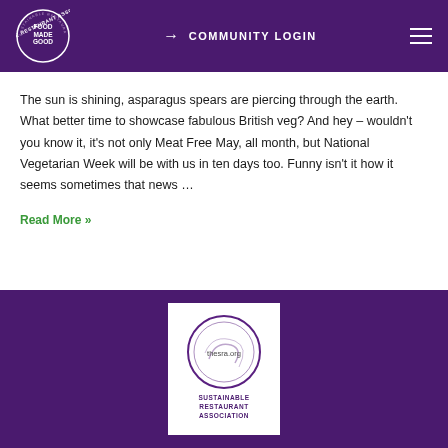[Figure (logo): Food Made Good circular logo in white on purple background]
→ COMMUNITY LOGIN
The sun is shining, asparagus spears are piercing through the earth. What better time to showcase fabulous British veg? And hey – wouldn't you know it, it's not only Meat Free May, all month, but National Vegetarian Week will be with us in ten days too. Funny isn't it how it seems sometimes that news …
Read More »
[Figure (logo): thesra.org Sustainable Restaurant Association circular logo on white card background in purple footer area]